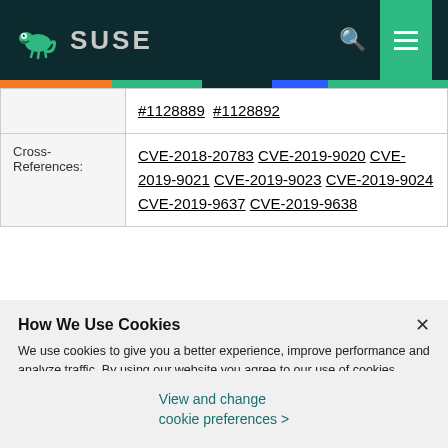SUSE
|  | #1128889 #1128892 |
| Cross-References: | CVE-2018-20783 CVE-2019-9020 CVE-2019-9021 CVE-2019-9023 CVE-2019-9024 CVE-2019-9637 CVE-2019-9638 |
How We Use Cookies
We use cookies to give you a better experience, improve performance and analyze traffic. By using our website you agree to our use of cookies.
View and change cookie preferences >